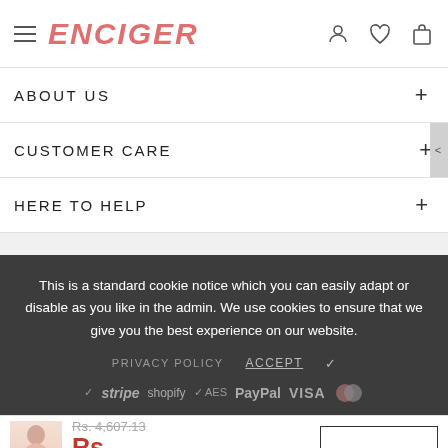ENCIGER
ABOUT US +
CUSTOMER CARE +
HERE TO HELP +
This is a standard cookie notice which you can easily adapt or disable as you like in the admin. We use cookies to ensure that we give you the best experience on our website.
PRIVACY POLICY   ACCEPT ✓
stripe  shopify  AES  PayPal  VISA  [mastercard]
Rs. 4,607.13  Rs. 3,224.99   ADD TO CART